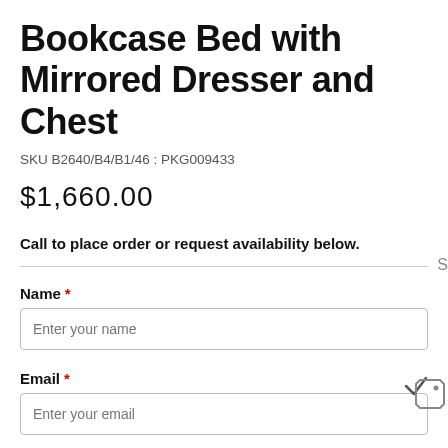Bookcase Bed with Mirrored Dresser and Chest
SKU B2640/B4/B1/46 : PKG009433
$1,660.00
Call to place order or request availability below.
Name *
Enter your name
Email *
Enter your email
Message *